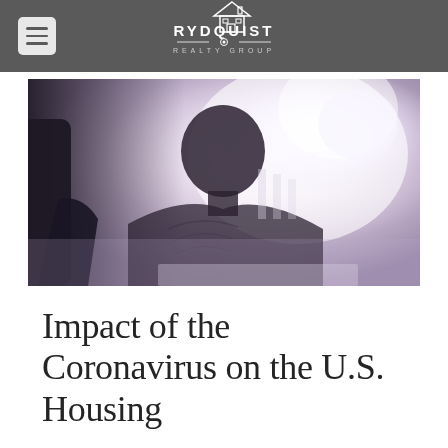RYDQUIST REALTY GROUP
[Figure (photo): A person sitting in a chair with bright sunlight behind them, silhouetted against a bright window, creating a high-contrast backlit effect with warm purple and white tones]
Impact of the Coronavirus on the U.S. Housing